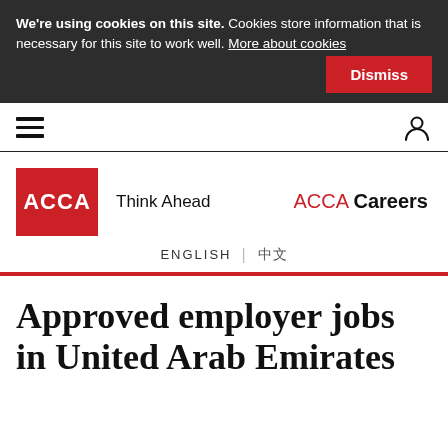We're using cookies on this site. Cookies store information that is necessary for this site to work well. More about cookies
Dismiss
[Figure (other): Hamburger menu icon (three horizontal lines) on the left and a user/person icon on the right in a navigation bar]
[Figure (logo): ACCA logo: red square with white ACCA text, followed by 'Think Ahead' tagline, and 'ACCA Careers' text on the right with ACCA in red and Careers in bold black]
ENGLISH | 中文
Approved employer jobs in United Arab Emirates